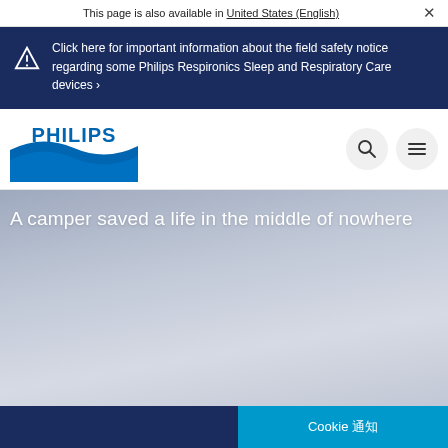This page is also available in United States (English)
Click here for important information about the field safety notice regarding some Philips Respironics Sleep and Respiratory Care devices ›
[Figure (logo): Philips logo — blue shield shape with PHILIPS wordmark in bold blue text]
A camper saved a life in the middle of nowhere
Cookie 通知